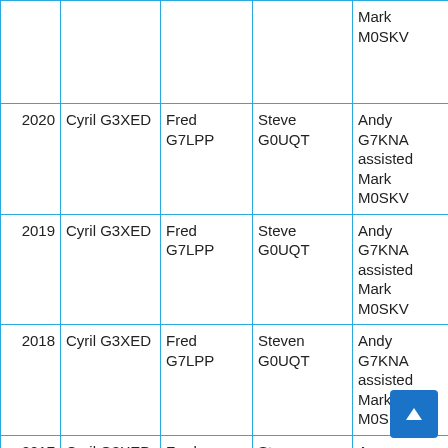| Year | Col2 | Col3 | Col4 | Col5 |
| --- | --- | --- | --- | --- |
|  |  |  |  | Mark M0SKV |
| 2020 | Cyril G3XED | Fred G7LPP | Steve G0UQT | Andy G7KNA assisted Mark M0SKV |
| 2019 | Cyril G3XED | Fred G7LPP | Steve G0UQT | Andy G7KNA assisted Mark M0SKV |
| 2018 | Cyril G3XED | Fred G7LPP | Steven G0UQT | Andy G7KNA assisted Mark M0SKV |
| 2017 | Cyril G3XED | Fred G7LPP | Steven G0UQT | Andy G7KNA assisted |